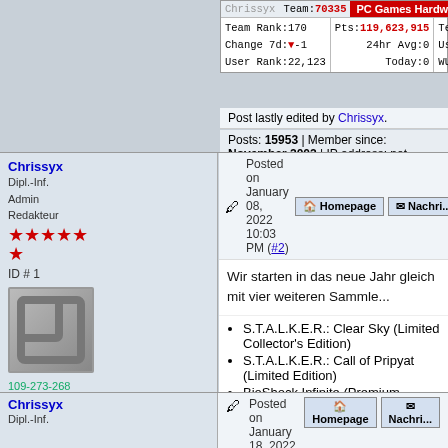| Chrissyx | Team: 70335 | PC Games Hardware |
| --- | --- | --- |
| Team Rank: 170 | Pts: 119,623,915 | Team Rank: 9 |
| Change 7d: -1 | 24hr Avg: 0 | Users: 89/9793 |
| User Rank: 22,123 | Today: 0 | WUs: 7,677,161 |
Post lastly edited by Chrissyx.
Posts: 15953 | Member since: November 2002 | IP address: not saved
Chrissyx
Dipl.-Inf.
Admin
Redakteur
ID # 1
Posted on January 08, 2022 10:03 PM (#2)
Wir starten in das neue Jahr gleich mit vier weiteren Sammle...
S.T.A.L.K.E.R.: Clear Sky (Limited Collector's Edition)
S.T.A.L.K.E.R.: Call of Pripyat (Limited Edition)
BioShock Infinite (Premium Edition)
Outcast (Limitierte Sonderausgabe)
------------------------
| Chrissyx | Team: 70335 | PC Games Hardware |
| --- | --- | --- |
| Team Rank: 170 | Pts: 119,623,915 | Team Rank: 9 |
| Change 7d: -1 | 24hr Avg: 0 | Users: 89/9793 |
| User Rank: 22,123 | Today: 0 | WUs: 7,677,161 |
Posts: 15953 | Member since: November 2002 | IP address: not saved
Chrissyx
Dipl.-Inf.
Posted on January 18, 2022